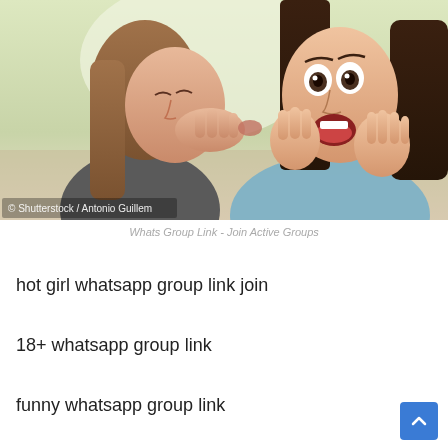[Figure (photo): Two young women whispering a secret to each other with surprised expressions. One whispers into the other's ear while the other looks shocked with hands on face. Shutterstock / Antonio Guillem watermark in bottom left.]
Whats Group Link - Join Active Groups
hot girl whatsapp group link join
18+ whatsapp group link
funny whatsapp group link